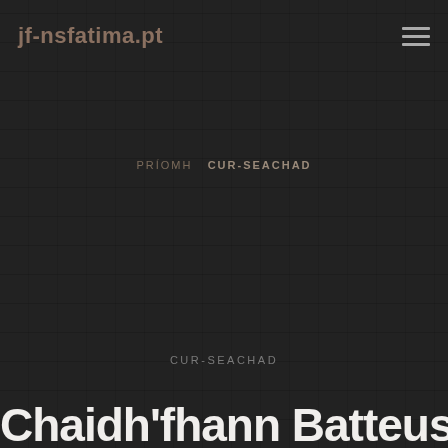jf-nsfatima.pt
PRÍOMH  CUR-SEACHAD
CUR-SEACHAD
Chaidh'fhann Batteuse d